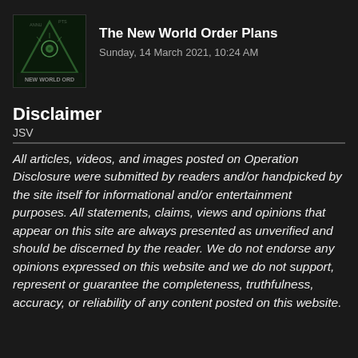[Figure (photo): Channel logo image showing an eye-in-triangle (Illuminati pyramid) symbol over a dark background with text 'NEW WORLD ORDER']
The New World Order Plans
Sunday, 14 March 2021, 10:24 AM
Disclaimer
JSV
All articles, videos, and images posted on Operation Disclosure were submitted by readers and/or handpicked by the site itself for informational and/or entertainment purposes. All statements, claims, views and opinions that appear on this site are always presented as unverified and should be discerned by the reader. We do not endorse any opinions expressed on this website and we do not support, represent or guarantee the completeness, truthfulness, accuracy, or reliability of any content posted on this website.